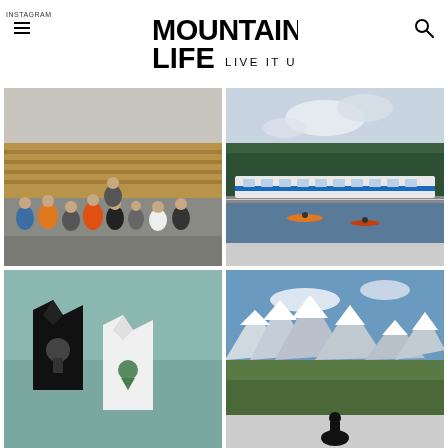INSTAGRAM
[Figure (logo): Mountain Life - Live It Up logo]
[Figure (photo): Group of people posing in front of stacked lumber at a warehouse]
[Figure (photo): Aerial view of a train at a station next to a river with forest and mountains]
[Figure (photo): Black and white t-shirts with mountain graphic design on teal/muted green background]
[Figure (photo): Mountain panorama view with rocky peaks and a person in foreground]